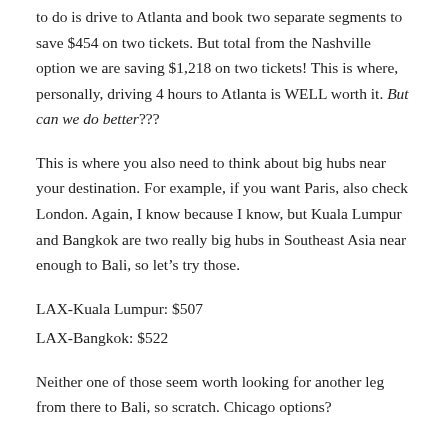to do is drive to Atlanta and book two separate segments to save $454 on two tickets. But total from the Nashville option we are saving $1,218 on two tickets! This is where, personally, driving 4 hours to Atlanta is WELL worth it. But can we do better???
This is where you also need to think about big hubs near your destination. For example, if you want Paris, also check London. Again, I know because I know, but Kuala Lumpur and Bangkok are two really big hubs in Southeast Asia near enough to Bali, so let’s try those.
LAX-Kuala Lumpur: $507
LAX-Bangkok: $522
Neither one of those seem worth looking for another leg from there to Bali, so scratch. Chicago options?